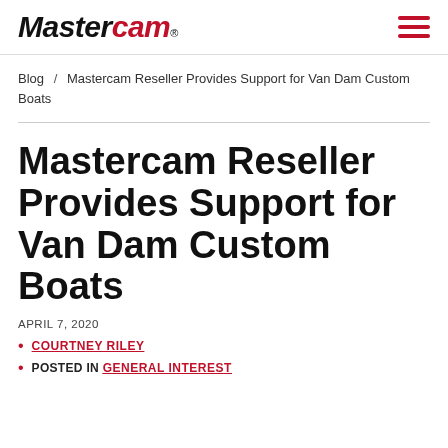Mastercam
Blog / Mastercam Reseller Provides Support for Van Dam Custom Boats
Mastercam Reseller Provides Support for Van Dam Custom Boats
APRIL 7, 2020
COURTNEY RILEY
POSTED IN GENERAL INTEREST